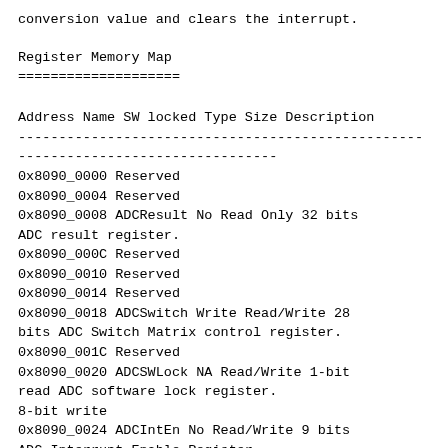conversion value and clears the interrupt.
Register Memory Map
====================
| Address | Name | SW locked | Type | Size | Description |
| --- | --- | --- | --- | --- | --- |
| 0x8090_0000 | Reserved |  |  |  |  |
| 0x8090_0004 | Reserved |  |  |  |  |
| 0x8090_0008 | ADCResult | No | Read Only | 32 bits | ADC result register. |
| 0x8090_000C | Reserved |  |  |  |  |
| 0x8090_0010 | Reserved |  |  |  |  |
| 0x8090_0014 | Reserved |  |  |  |  |
| 0x8090_0018 | ADCSwitch | Write | Read/Write | 28 bits | ADC Switch Matrix control register. |
| 0x8090_001C | Reserved |  |  |  |  |
| 0x8090_0020 | ADCSWLock | NA | Read/Write | 1-bit read 8-bit write | ADC software lock register. |
| 0x8090_0024 | ADCIntEn | No | Read/Write | 9 bits | ADC Interrupt Enable Register. |